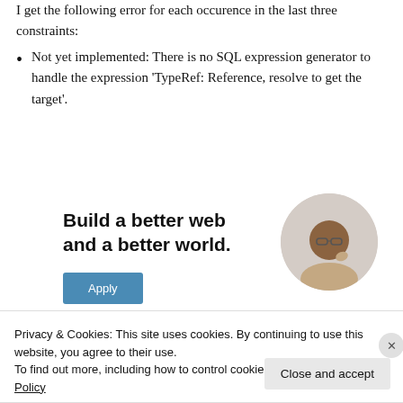I get the following error for each occurence in the last three constraints:
Not yet implemented: There is no SQL expression generator to handle the expression 'TypeRef: Reference, resolve to get the target'.
[Figure (other): Advertisement banner: 'Build a better web and a better world.' with an Apply button and a photo of a man thinking]
Privacy & Cookies: This site uses cookies. By continuing to use this website, you agree to their use.
To find out more, including how to control cookies, see here: Cookie Policy
Close and accept